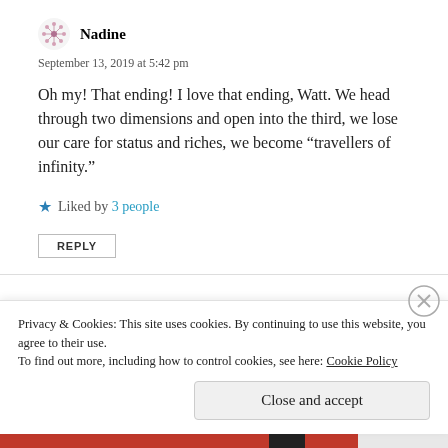[Figure (illustration): Small pink/grey dandelion or flower avatar icon for user Nadine]
Nadine
September 13, 2019 at 5:42 pm
Oh my! That ending! I love that ending, Watt. We head through two dimensions and open into the third, we lose our care for status and riches, we become “travellers of infinity.”
Liked by 3 people
REPLY
Privacy & Cookies: This site uses cookies. By continuing to use this website, you agree to their use.
To find out more, including how to control cookies, see here: Cookie Policy
Close and accept